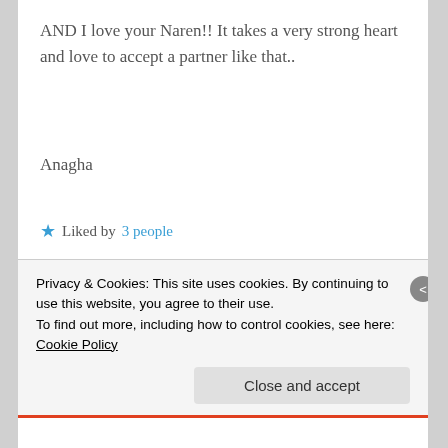AND I love your Naren!! It takes a very strong heart and love to accept a partner like that..
Anagha
★ Liked by 3 people
Reply
[Figure (illustration): Avatar icon showing a stylized dark green owl or bird shape]
ana1126
Privacy & Cookies: This site uses cookies. By continuing to use this website, you agree to their use.
To find out more, including how to control cookies, see here: Cookie Policy
Close and accept